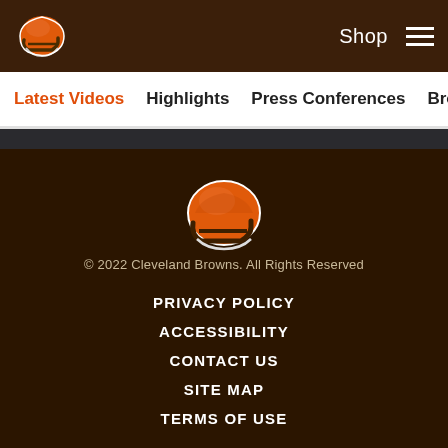Shop
Latest Videos
Highlights
Press Conferences
Browns Live
[Figure (logo): Cleveland Browns football helmet logo — orange helmet with brown facemask and white chin strap detail]
© 2022 Cleveland Browns. All Rights Reserved
PRIVACY POLICY
ACCESSIBILITY
CONTACT US
SITE MAP
TERMS OF USE